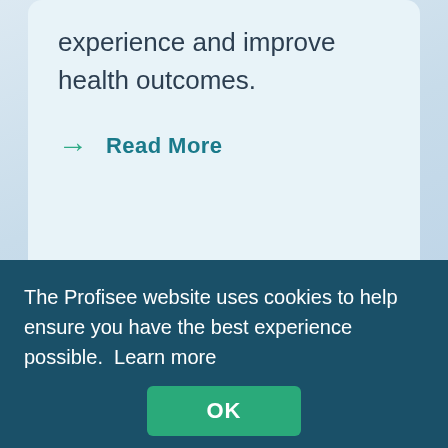experience and improve health outcomes.
→ Read More
[Figure (other): Pagination dots row: one orange dot followed by many teal dots]
The Profisee website uses cookies to help ensure you have the best experience possible.  Learn more
OK